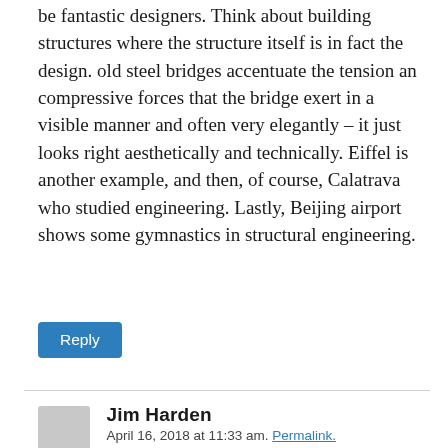be fantastic designers. Think about building structures where the structure itself is in fact the design. old steel bridges accentuate the tension an compressive forces that the bridge exert in a visible manner and often very elegantly – it just looks right aesthetically and technically. Eiffel is another example, and then, of course, Calatrava who studied engineering. Lastly, Beijing airport shows some gymnastics in structural engineering.
Reply
Jim Harden
April 16, 2018 at 11:33 am. Permalink.
At 83 and driven by a lifelong curious quest to learn, I